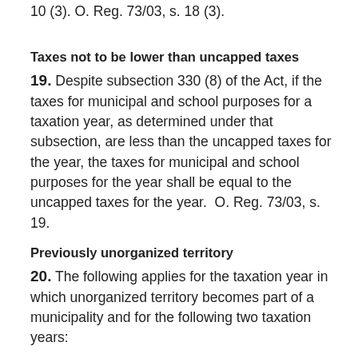10 (3).  O. Reg. 73/03, s. 18 (3).
Taxes not to be lower than uncapped taxes
19. Despite subsection 330 (8) of the Act, if the taxes for municipal and school purposes for a taxation year, as determined under that subsection, are less than the uncapped taxes for the year, the taxes for municipal and school purposes for the year shall be equal to the uncapped taxes for the year.  O. Reg. 73/03, s. 19.
Previously unorganized territory
20. The following applies for the taxation year in which unorganized territory becomes part of a municipality and for the following two taxation years: